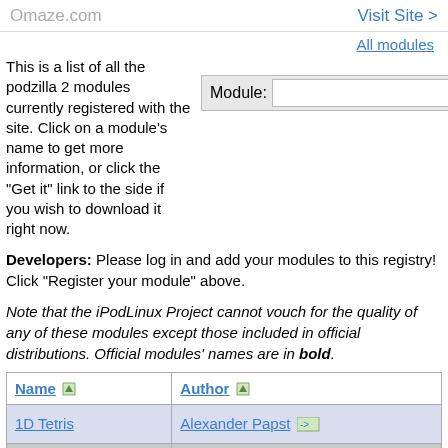Omaze.com   Visit Site >
All modules
This is a list of all the podzilla 2 modules currently registered with the site. Click on a module's name to get more information, or click the "Get it" link to the side if you wish to download it right now.
Developers: Please log in and add your modules to this registry! Click "Register your module" above.
Note that the iPodLinux Project cannot vouch for the quality of any of these modules except those included in official distributions. Official modules' names are in bold.
| Name | Author |
| --- | --- |
| 1D Tetris | Alexander Papst -> |
|  |  |